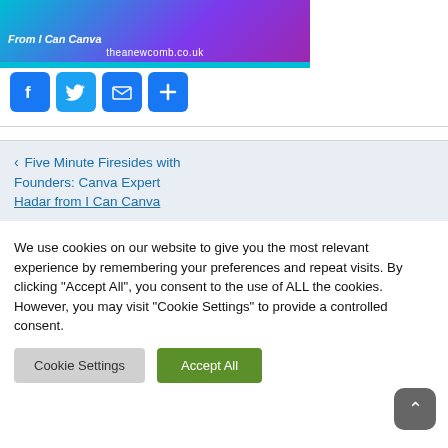[Figure (screenshot): Banner image with gradient background (blue to purple) showing 'From I Can Canva' text and website URL theanewcomb.co.uk at bottom]
[Figure (infographic): Row of four social sharing icon buttons: Facebook (f), Twitter (bird), Email (envelope), Share (+)]
< Five Minute Firesides with Founders: Canva Expert Hadar from I Can Canva
We use cookies on our website to give you the most relevant experience by remembering your preferences and repeat visits. By clicking "Accept All", you consent to the use of ALL the cookies. However, you may visit "Cookie Settings" to provide a controlled consent.